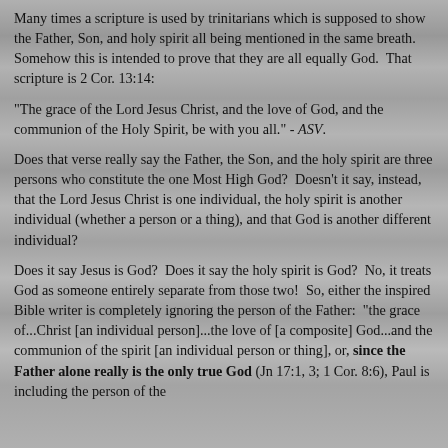Many times a scripture is used by trinitarians which is supposed to show the Father, Son, and holy spirit all being mentioned in the same breath.  Somehow this is intended to prove that they are all equally God.  That scripture is 2 Cor. 13:14:
"The grace of the Lord Jesus Christ, and the love of God, and the communion of the Holy Spirit, be with you all." - ASV.
Does that verse really say the Father, the Son, and the holy spirit are three persons who constitute the one Most High God?  Doesn't it say, instead, that the Lord Jesus Christ is one individual, the holy spirit is another individual (whether a person or a thing), and that God is another different individual?
Does it say Jesus is God?  Does it say the holy spirit is God?  No, it treats God as someone entirely separate from those two!  So, either the inspired Bible writer is completely ignoring the person of the Father:  "the grace of...Christ [an individual person]...the love of [a composite] God...and the communion of the spirit [an individual person or thing], or, since the Father alone really is the only true God (Jn 17:1, 3; 1 Cor. 8:6), Paul is including the person of the